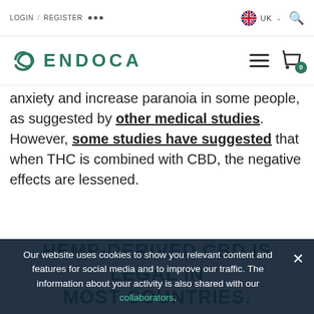LOGIN / REGISTER ... UK
ENDOCA
anxiety and increase paranoia in some people, as suggested by other medical studies. However, some studies have suggested that when THC is combined with CBD, the negative effects are lessened.
HEMP-DERIVED CBD IS LEGAL IN MOST COUNTRIES.
Our website uses cookies to show you relevant content and features for social media and to improve our traffic. The information about your activity is also shared with our collaborators.